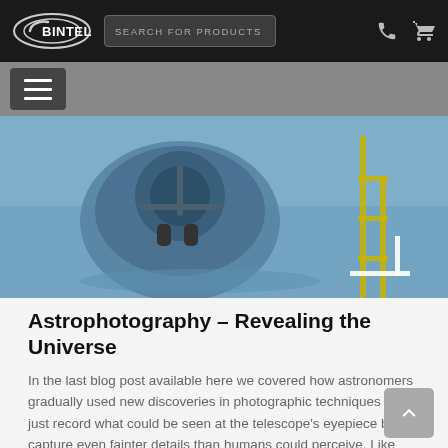BINTEL | SEARCH FOR PRODUCTS
[Figure (screenshot): Navigation menu bar with hamburger icon on grey background]
[Figure (photo): Aerial or top-down photograph of a large telescope or observatory dome equipment, blue coloring]
Astrophotography – Revealing the Universe
In the last blog post available here we covered how astronomers gradually used new discoveries in photographic techniques to not just record what could be seen at the telescope's eyepiece but to capture even fainter details than humans could perceive. Like new technologies tend to do, once